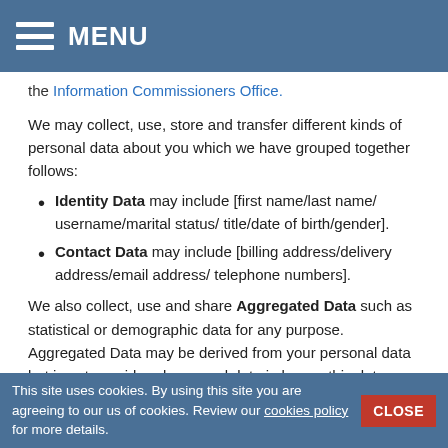MENU
the Information Commissioners Office.
We may collect, use, store and transfer different kinds of personal data about you which we have grouped together follows:
Identity Data may include [first name/last name/username/marital status/ title/date of birth/gender].
Contact Data may include [billing address/delivery address/email address/ telephone numbers].
We also collect, use and share Aggregated Data such as statistical or demographic data for any purpose. Aggregated Data may be derived from your personal data but is not considered personal data in law as this data does not directly or indirectly reveal your identity. For example, we may
This site uses cookies. By using this site you are agreeing to our us of cookies. Review our cookies policy for more details.